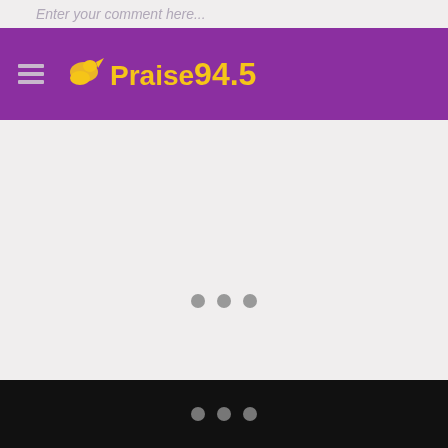Enter your comment here...
[Figure (logo): Praise 94.5 radio station logo with hamburger menu icon on purple background. Logo features a dove icon and text 'Praise 94.5' in yellow/gold color.]
[Figure (other): Loading indicator with three grey dots centered on light grey background]
Three grey dots loading indicator on black background